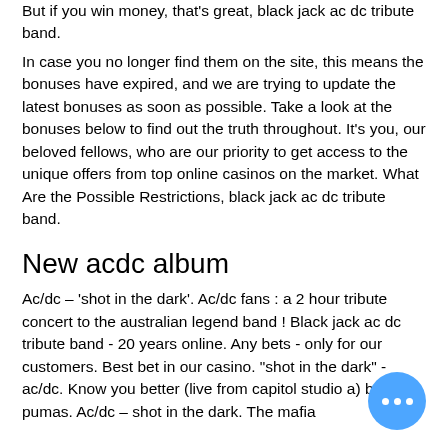But if you win money, that's great, black jack ac dc tribute band. In case you no longer find them on the site, this means the bonuses have expired, and we are trying to update the latest bonuses as soon as possible. Take a look at the bonuses below to find out the truth throughout. It's you, our beloved fellows, who are our priority to get access to the unique offers from top online casinos on the market. What Are the Possible Restrictions, black jack ac dc tribute band.
New acdc album
Ac/dc – 'shot in the dark'. Ac/dc fans : a 2 hour tribute concert to the australian legend band ! Black jack ac dc tribute band - 20 years online. Any bets - only for our customers. Best bet in our casino. &quot;shot in the dark&quot; - ac/dc. Know you better (live from capitol studio a) by pumas. Ac/dc – shot in the dark. The mafia